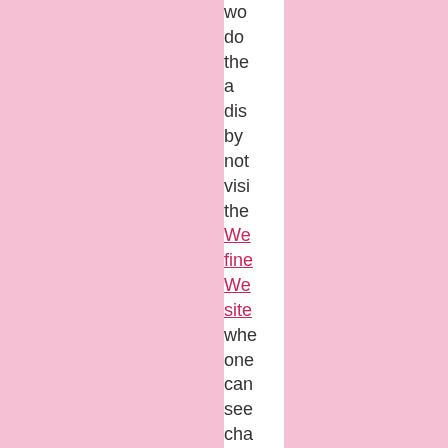wo do the a dis by not visi the We fine We site whe one can see cha pict I'd gue circ 198